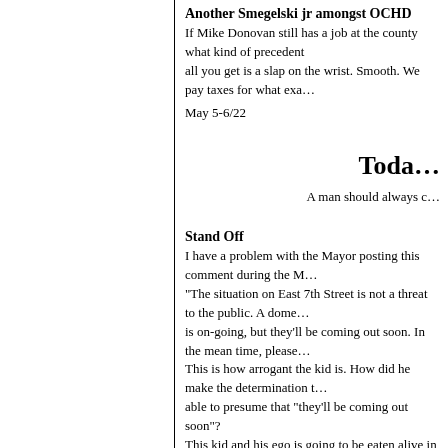Another Smegelski jr amongst OCHD
If Mike Donovan still has a job at the county what kind of precedent all you get is a slap on the wrist. Smooth. We pay taxes for what exa…
May 5-6/22
Toda…
A man should always c…
Stand Off
I have a problem with the Mayor posting this comment during the M… "The situation on East 7th Street is not a threat to the public. A dome… is on-going, but they'll be coming out soon. In the mean time, please… This is how arrogant the kid is. How did he make the determination t… able to presume that "they'll be coming out soon"? This kid and his ego is going to be eaten alive in Albany. Next time j…
Side theory. The Miller's have been long time drug dealers in Osweg… Mayor's suppliers?
May 4/22